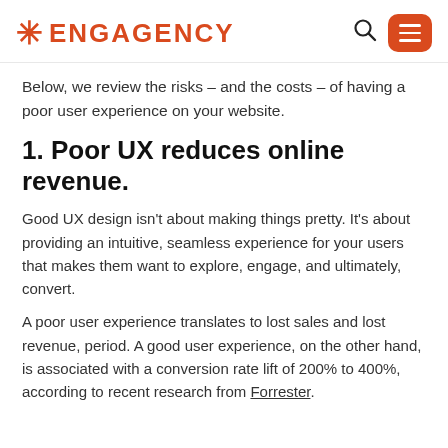ENGAGENCY
Below, we review the risks – and the costs – of having a poor user experience on your website.
1. Poor UX reduces online revenue.
Good UX design isn't about making things pretty. It's about providing an intuitive, seamless experience for your users that makes them want to explore, engage, and ultimately, convert.
A poor user experience translates to lost sales and lost revenue, period. A good user experience, on the other hand, is associated with a conversion rate lift of 200% to 400%, according to recent research from Forrester.